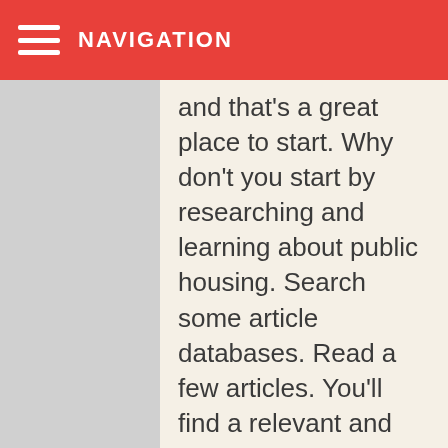NAVIGATION
and that's a great place to start. Why don't you start by researching and learning about public housing. Search some article databases. Read a few articles. You'll find a relevant and interesting place to go with this. Just be careful not to force the research to prove your experience, like a square peg in a round hole. It is